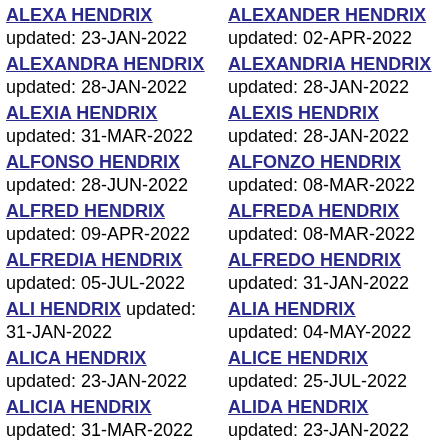ALEXA HENDRIX updated: 23-JAN-2022
ALEXANDER HENDRIX updated: 02-APR-2022
ALEXANDRA HENDRIX updated: 28-JAN-2022
ALEXANDRIA HENDRIX updated: 28-JAN-2022
ALEXIA HENDRIX updated: 31-MAR-2022
ALEXIS HENDRIX updated: 28-JAN-2022
ALFONSO HENDRIX updated: 28-JUN-2022
ALFONZO HENDRIX updated: 08-MAR-2022
ALFRED HENDRIX updated: 09-APR-2022
ALFREDA HENDRIX updated: 08-MAR-2022
ALFREDIA HENDRIX updated: 05-JUL-2022
ALFREDO HENDRIX updated: 31-JAN-2022
ALI HENDRIX updated: 31-JAN-2022
ALIA HENDRIX updated: 04-MAY-2022
ALICA HENDRIX updated: 23-JAN-2022
ALICE HENDRIX updated: 25-JUL-2022
ALICIA HENDRIX updated: 31-MAR-2022
ALIDA HENDRIX updated: 23-JAN-2022